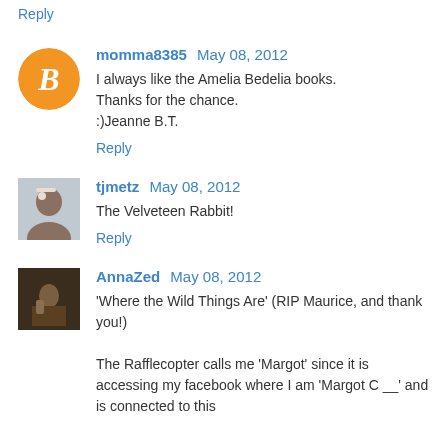Reply
momma8385  May 08, 2012
I always like the Amelia Bedelia books.
Thanks for the chance.
:)Jeanne B.T.
Reply
tjmetz  May 08, 2012
The Velveteen Rabbit!
Reply
AnnaZed  May 08, 2012
'Where the Wild Things Are' (RIP Maurice, and thank you!)
The Rafflecopter calls me 'Margot' since it is accessing my facebook where I am 'Margot C __' and is connected to this